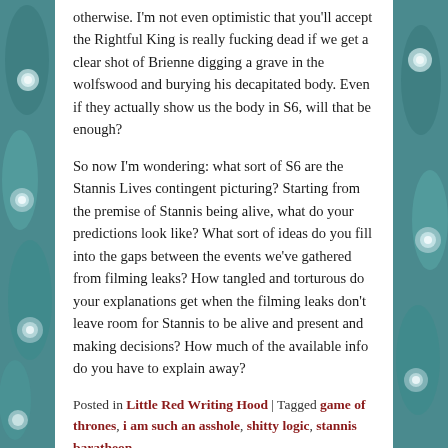otherwise. I'm not even optimistic that you'll accept the Rightful King is really fucking dead if we get a clear shot of Brienne digging a grave in the wolfswood and burying his decapitated body. Even if they actually show us the body in S6, will that be enough?
So now I'm wondering: what sort of S6 are the Stannis Lives contingent picturing? Starting from the premise of Stannis being alive, what do your predictions look like? What sort of ideas do you fill into the gaps between the events we've gathered from filming leaks? How tangled and torturous do your explanations get when the filming leaks don't leave room for Stannis to be alive and present and making decisions? How much of the available info do you have to explain away?
Posted in Little Red Writing Hood | Tagged game of thrones, i am such an asshole, shitty logic, stannis baratheon